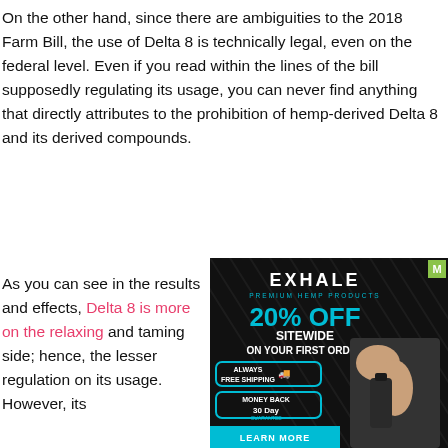On the other hand, since there are ambiguities to the 2018 Farm Bill, the use of Delta 8 is technically legal, even on the federal level. Even if you read within the lines of the bill supposedly regulating its usage, you can never find anything that directly attributes to the prohibition of hemp-derived Delta 8 and its derived compounds.
As you can see in the results and effects, Delta 8 is more on the relaxing and taming side; hence, the lesser regulation on its usage. However, its
[Figure (other): Advertisement for Exhale Premium Hemp Products offering 20% off sitewide on first order, with always free shipping and money back 30 day guarantee badges, and a learn more button at the bottom.]